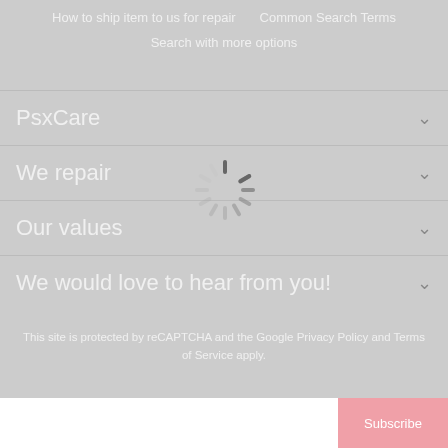How to ship item to us for repair    Common Search Terms
Search with more options
PsxCare
We repair
Our values
We would love to hear from you!
This site is protected by reCAPTCHA and the Google Privacy Policy and Terms of Service apply.
[Figure (screenshot): Subscribe input bar with pink Subscribe button at bottom]